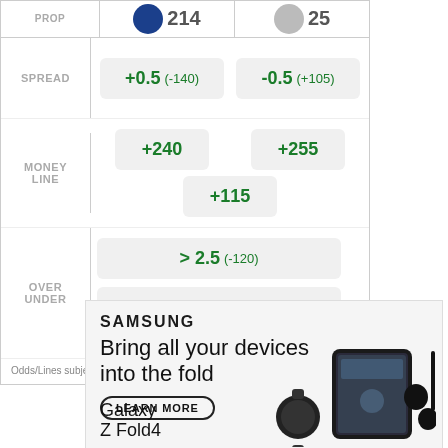|  | Team 1 | Team 2 |
| --- | --- | --- |
| SPREAD | +0.5 (-140) | -0.5 (+105) |
| MONEY LINE | +240 | +255 / +115 |
| OVER UNDER | > 2.5 (-120) | < 2.5 (-105) |
Odds/Lines subject to change. See draftkings.com for details.
[Figure (advertisement): Samsung advertisement showing 'Bring all your devices into the fold' with a Learn More button and Galaxy Z Fold4 device imagery]